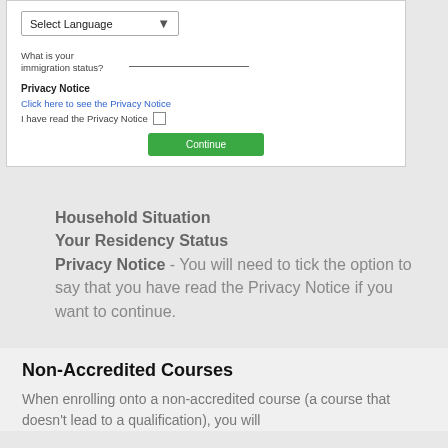[Figure (screenshot): A web form screenshot showing a language selector dropdown ('Select Language'), a text field for immigration status question ('What is your immigration status?'), a Privacy Notice section with a link and checkbox, and a green 'Continue' button.]
Household Situation
Your Residency Status
Privacy Notice - You will need to tick the option to say that you have read the Privacy Notice if you want to continue.
Non-Accredited Courses
When enrolling onto a non-accredited course (a course that doesn't lead to a qualification), you will